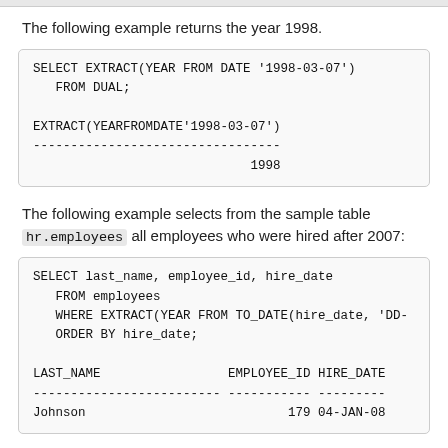The following example returns the year 1998.
[Figure (screenshot): SQL code block showing: SELECT EXTRACT(YEAR FROM DATE '1998-03-07') FROM DUAL; followed by output: EXTRACT(YEARFROMDATE'1998-03-07') with dashes separator and result 1998]
The following example selects from the sample table hr.employees all employees who were hired after 2007:
[Figure (screenshot): SQL code block showing: SELECT last_name, employee_id, hire_date FROM employees WHERE EXTRACT(YEAR FROM TO_DATE(hire_date, 'DD- ORDER BY hire_date; followed by output header LAST_NAME EMPLOYEE_ID HIRE_DATE with dashes and row: Johnson 179 04-JAN-08]